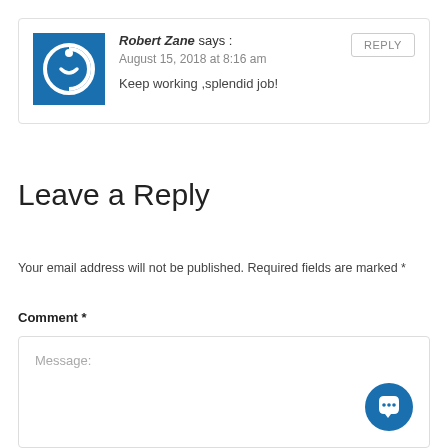Robert Zane says : August 15, 2018 at 8:16 am Keep working ,splendid job!
Leave a Reply
Your email address will not be published. Required fields are marked *
Comment *
Message: